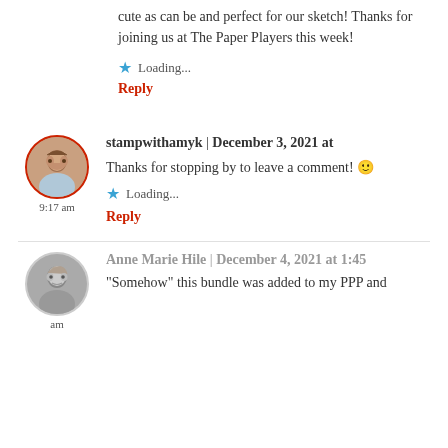cute as can be and perfect for our sketch! Thanks for joining us at The Paper Players this week!
Loading...
Reply
stampwithamyk | December 3, 2021 at 9:17 am
Thanks for stopping by to leave a comment! 🙂
Loading...
Reply
Anne Marie Hile | December 4, 2021 at 1:45 am
"Somehow" this bundle was added to my PPP and